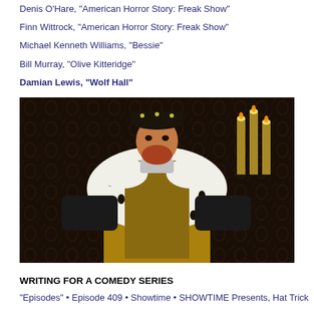Denis O'Hare, "American Horror Story: Freak Show"
Finn Wittrock, "American Horror Story: Freak Show"
Michael Kenneth Williams, "Bessie"
Bill Murray, "Olive Kitteridge"
Damian Lewis, "Wolf Hall"
[Figure (photo): Damian Lewis dressed in ornate Tudor/royal costume with white fur-trimmed robe, gold and black brocade tunic, black hat with jewels, standing with hands on hips in a dramatic pose against dark patterned wallpaper background with candles visible.]
WRITING FOR A COMEDY SERIES
"Episodes" • Episode 409 • Showtime • SHOWTIME Presents, Hat Trick